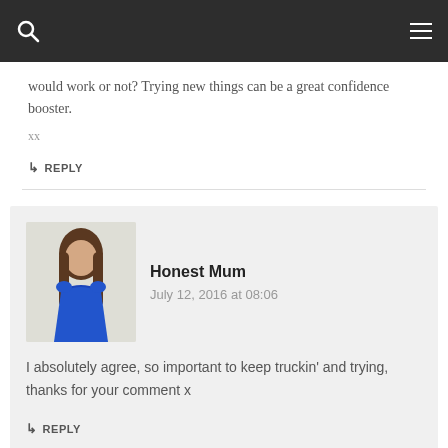[search icon] [menu icon]
would work or not? Trying new things can be a great confidence booster.
xx
↳ REPLY
Honest Mum
July 12, 2016 at 08:06
I absolutely agree, so important to keep truckin' and trying, thanks for your comment x
↳ REPLY